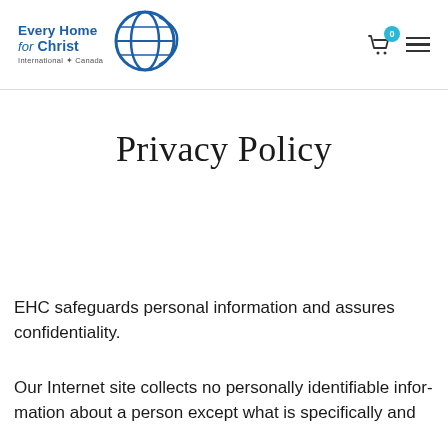Every Home for Christ International • Canada
Privacy Policy
EHC safeguards personal information and assures confidentiality.
Our Internet site collects no personally identifiable information about a person except what is specifically and